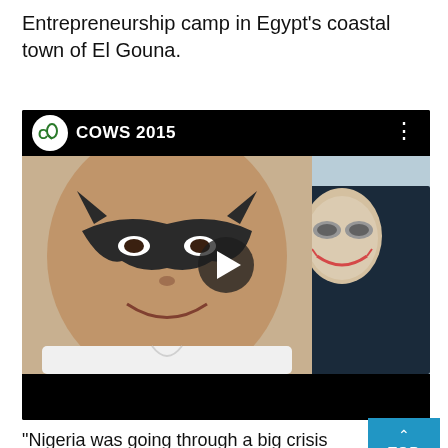Entrepreneurship camp in Egypt’s coastal town of El Gouna.
[Figure (screenshot): Video thumbnail showing two young men with superhero/villain face paint (Batman and Joker). The video is labeled 'COWS 2015' with a logo in the top-left corner and a play button in the center.]
“Nigeria was going through a big crisis because o… prices had gone down and the currency was cut in half.